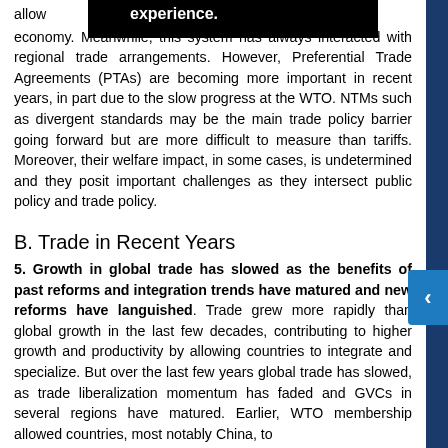allow experience. economy. Meanwhile, this system has always interacted with regional trade arrangements. However, Preferential Trade Agreements (PTAs) are becoming more important in recent years, in part due to the slow progress at the WTO. NTMs such as divergent standards may be the main trade policy barrier going forward but are more difficult to measure than tariffs. Moreover, their welfare impact, in some cases, is undetermined and they posit important challenges as they intersect public policy and trade policy.
B. Trade in Recent Years
5. Growth in global trade has slowed as the benefits of past reforms and integration trends have matured and new reforms have languished. Trade grew more rapidly than global growth in the last few decades, contributing to higher growth and productivity by allowing countries to integrate and specialize. But over the last few years global trade has slowed, as trade liberalization momentum has faded and GVCs in several regions have matured. Earlier, WTO membership allowed countries, most notably China, to